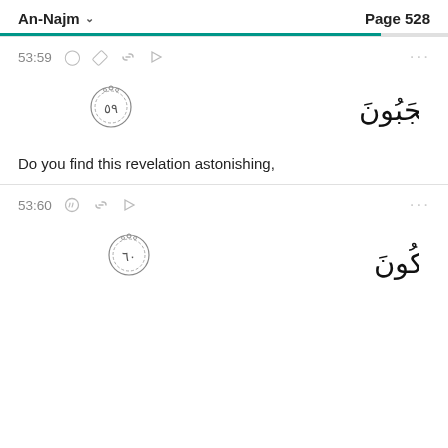An-Najm   Page 528
53:59
[Figure (other): Arabic Quranic verse 59 of Surah An-Najm with decorated verse number circle: أَفَمِنْ هَٰذَا ٱلْحَدِيثِ تَعْجَبُونَ]
Do you find this revelation astonishing,
53:60
[Figure (other): Arabic Quranic verse 60 of Surah An-Najm with decorated verse number circle: وَتَضْحَكُونَ وَلَا تَبْكُونَ]